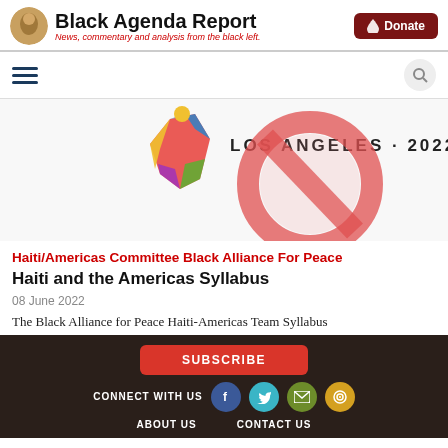Black Agenda Report — News, commentary and analysis from the black left.
[Figure (logo): Black Agenda Report site logo with circular avatar icon and red Donate button]
[Figure (illustration): Los Angeles 2022 banner with colorful figure and red prohibition/no symbol circle overlay]
Haiti/Americas Committee Black Alliance For Peace
Haiti and the Americas Syllabus
08 June 2022
The Black Alliance for Peace Haiti-Americas Team Syllabus
SUBSCRIBE | CONNECT WITH US | ABOUT US | CONTACT US